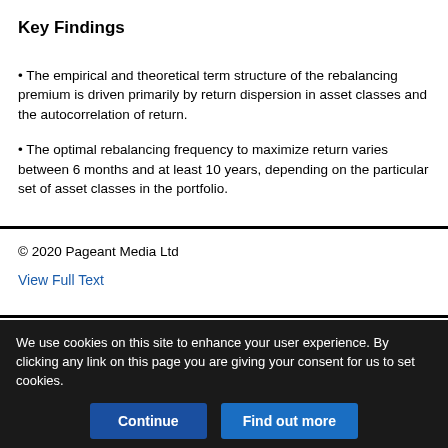Key Findings
The empirical and theoretical term structure of the rebalancing premium is driven primarily by return dispersion in asset classes and the autocorrelation of return.
The optimal rebalancing frequency to maximize return varies between 6 months and at least 10 years, depending on the particular set of asset classes in the portfolio.
© 2020 Pageant Media Ltd
View Full Text
We use cookies on this site to enhance your user experience. By clicking any link on this page you are giving your consent for us to set cookies.
Continue
Find out more